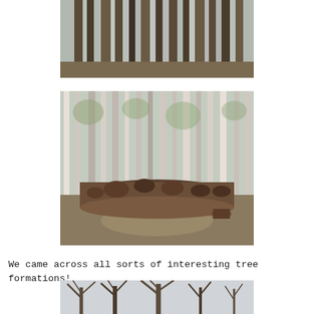[Figure (photo): Forest photo showing tall, dense pine/conifer trees with straight trunks, viewed from ground level, daylight sky visible above.]
[Figure (photo): Forest photo showing a large fallen tree trunk/log on the ground amid leaf litter, surrounded by birch and pine trees in early spring.]
We came across all sorts of interesting tree formations!
[Figure (photo): Forest photo showing bare deciduous trees with tangled branches against a grey-white sky, early spring or winter.]